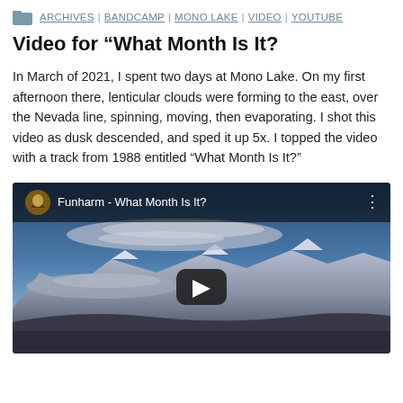ARCHIVES | BANDCAMP | MONO LAKE | VIDEO | YOUTUBE
Video for “What Month Is It?
In March of 2021, I spent two days at Mono Lake. On my first afternoon there, lenticular clouds were forming to the east, over the Nevada line, spinning, moving, then evaporating. I shot this video as dusk descended, and sped it up 5x. I topped the video with a track from 1988 entitled “What Month Is It?”
[Figure (screenshot): YouTube video embed showing lenticular clouds over Mono Lake at dusk with snow-capped mountains, titled 'Funharm - What Month Is It?' with YouTube play button overlay]